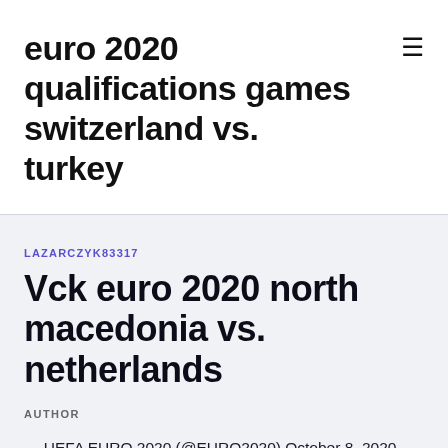euro 2020 qualifications games switzerland vs. turkey
LAZARCZYK83317
Vck euro 2020 north macedonia vs. netherlands
AUTHOR
— UEFA EURO 2020 (@EURO2020) October 8, 2020. #Euro2020 #PES2021 #Macedonia vsNetherlandsNorth